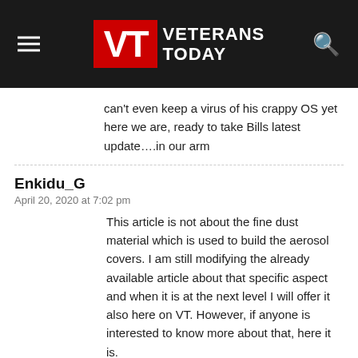VT VETERANS TODAY
can't even keep a virus of his crappy OS yet here we are, ready to take Bills latest update….in our arm
Enkidu_G
April 20, 2020 at 7:02 pm
This article is not about the fine dust material which is used to build the aerosol covers. I am still modifying the already available article about that specific aspect and when it is at the next level I will offer it also here on VT. However, if anyone is interested to know more about that, here it is.
Chemtrails are made with coal fly-ash, sulfur powder from oil refineries & other industrial trash, used as desublimation nuclei!